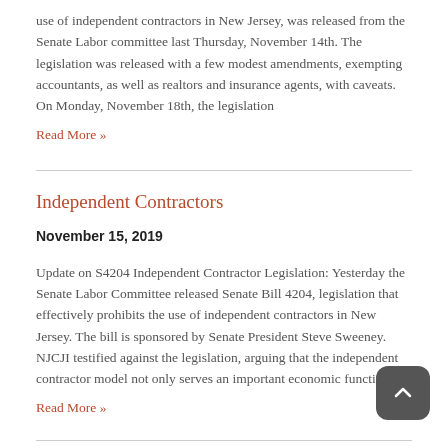use of independent contractors in New Jersey, was released from the Senate Labor committee last Thursday, November 14th. The legislation was released with a few modest amendments, exempting accountants, as well as realtors and insurance agents, with caveats. On Monday, November 18th, the legislation
Read More »
Independent Contractors
November 15, 2019
Update on S4204 Independent Contractor Legislation: Yesterday the Senate Labor Committee released Senate Bill 4204, legislation that effectively prohibits the use of independent contractors in New Jersey. The bill is sponsored by Senate President Steve Sweeney. NJCJI testified against the legislation, arguing that the independent contractor model not only serves an important economic function, it
Read More »